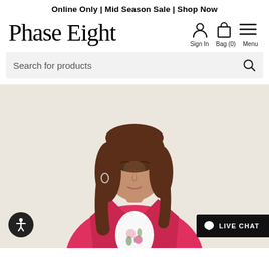Online Only | Mid Season Sale | Shop Now
[Figure (logo): Phase Eight cursive logo]
[Figure (infographic): Navigation icons: Sign In (person icon), Bag (0) (bag icon), Menu (hamburger icon)]
Search for products
[Figure (photo): Woman wearing a hot pink blazer over a white floral top, brown shoulder-length hair, light background. Live Chat button at bottom right. Accessibility icon button at bottom left.]